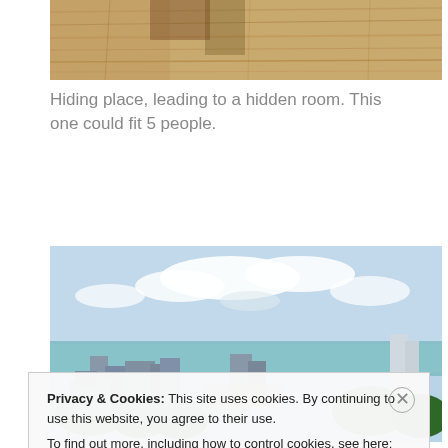[Figure (photo): Top portion of a wooden floor/ceiling photo, cropped at top]
Hiding place, leading to a hidden room. This one could fit 5 people.
[Figure (photo): Aerial/elevated view of a coastal town with buildings, trees, and the sea in the background with clouds]
Privacy & Cookies: This site uses cookies. By continuing to use this website, you agree to their use.
To find out more, including how to control cookies, see here: Cookie Policy
Close and accept